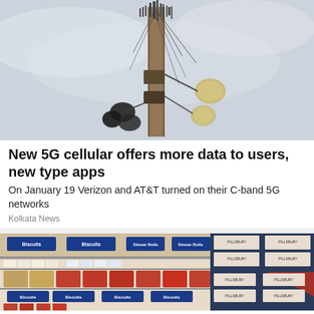[Figure (photo): A cellular tower with antennas and equipment against a pale grey sky background]
New 5G cellular offers more data to users, new type apps
On January 19 Verizon and AT&T turned on their C-band 5G networks
Kolkata News
[Figure (photo): Grocery store shelf displaying biscuits and dinner rolls with product labels visible]